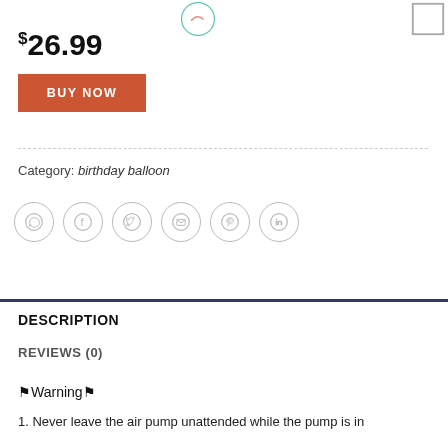$26.99
BUY NOW
Category: birthday balloon
[Figure (other): Social share icons: WhatsApp, Facebook, Twitter, Email, Pinterest, LinkedIn]
DESCRIPTION
REVIEWS (0)
⚑Warning⚑
1. Never leave the air pump unattended while the pump is in